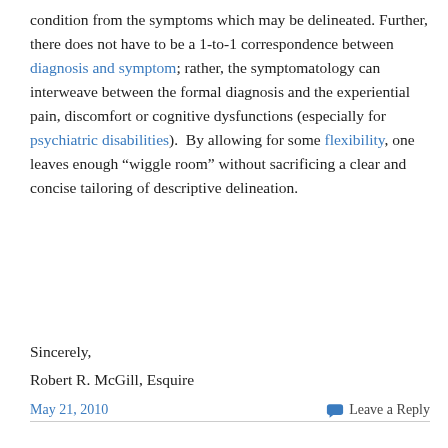condition from the symptoms which may be delineated. Further, there does not have to be a 1-to-1 correspondence between diagnosis and symptom; rather, the symptomatology can interweave between the formal diagnosis and the experiential pain, discomfort or cognitive dysfunctions (especially for psychiatric disabilities).  By allowing for some flexibility, one leaves enough "wiggle room" without sacrificing a clear and concise tailoring of descriptive delineation.
Sincerely,
Robert R. McGill, Esquire
May 21, 2010   Leave a Reply